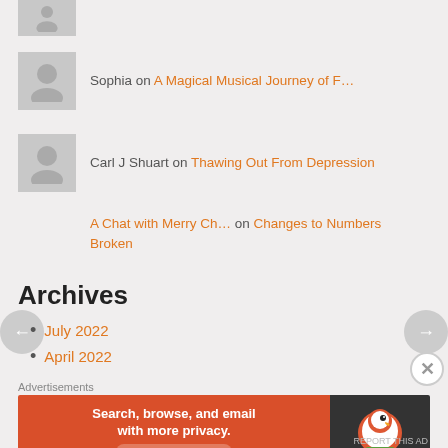[Figure (illustration): Gray avatar placeholder (top, partially visible)]
Sophia on A Magical Musical Journey of F...
Carl J Shuart on Thawing Out From Depression
A Chat with Merry Ch... on Changes to Numbers Broken
Archives
July 2022
April 2022
Advertisements
[Figure (illustration): DuckDuckGo advertisement banner: orange left side with text 'Search, browse, and email with more privacy. All in One Free App', dark right side with DuckDuckGo logo]